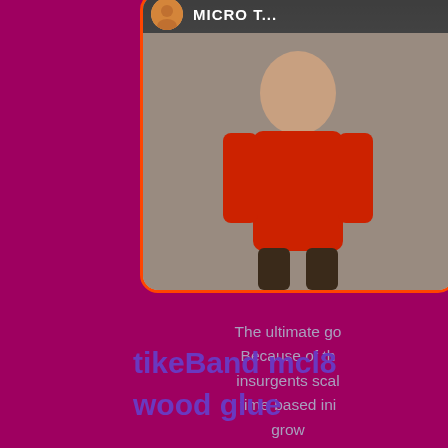[Figure (photo): Profile card with orange border showing a person in a red outfit against a gray background, with avatar and username 'MICRO T...' in the top bar]
The ultimate go... Because of th... insurgents scal... time-based ini... grow...
Battle m...
tikeBand mcl8... wood glue